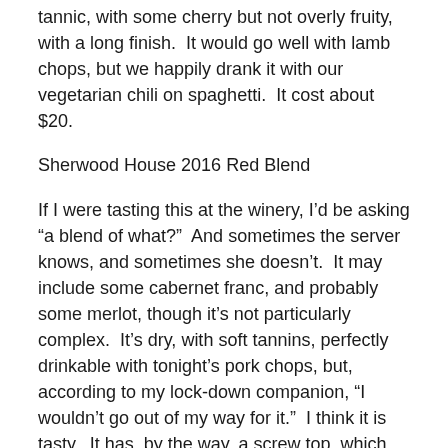tannic, with some cherry but not overly fruity, with a long finish.  It would go well with lamb chops, but we happily drank it with our vegetarian chili on spaghetti.  It cost about $20.
Sherwood House 2016 Red Blend
If I were tasting this at the winery, I’d be asking “a blend of what?”  And sometimes the server knows, and sometimes she doesn’t.  It may include some cabernet franc, and probably some merlot, though it’s not particularly complex.  It’s dry, with soft tannins, perfectly drinkable with tonight’s pork chops, but, according to my lock-down companion, “I wouldn’t go out of my way for it.”  I think it is tasty.  It has, by the way, a screw top, which has the advantage of being easy to open.